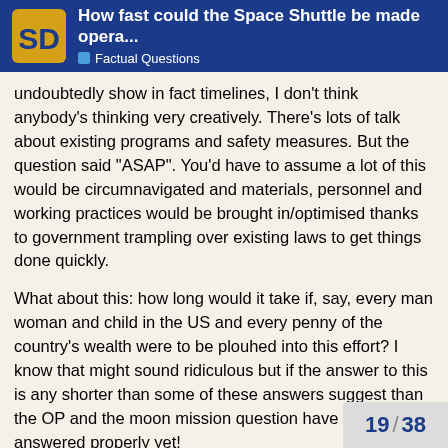How fast could the Space Shuttle be made opera... | Factual Questions
...undoubtedly show in fact timelines, I don't think anybody's thinking very creatively. There's lots of talk about existing programs and safety measures. But the question said "ASAP". You'd have to assume a lot of this would be circumnavigated and materials, personnel and working practices would be brought in/optimised thanks to government trampling over existing laws to get things done quickly.
What about this: how long would it take if, say, every man woman and child in the US and every penny of the country's wealth were to be plouhed into this effort? I know that might sound ridiculous but if the answer to this is any shorter than some of these answers suggest than the OP and the moon mission question have not been answered properly yet!
I freely admit there may be one or more specific barriers that are unachievable even in those circumstances. If so than I'm wrong. But I doubt it. There are always alternative solutions to specific problems.
19 / 38